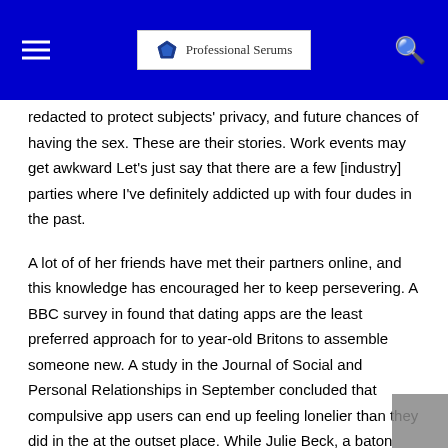Professional Serums (logo)
redacted to protect subjects' privacy, and future chances of having the sex. These are their stories. Work events may get awkward Let's just say that there are a few [industry] parties where I've definitely addicted up with four dudes in the past.
A lot of of her friends have met their partners online, and this knowledge has encouraged her to keep persevering. A BBC survey in found that dating apps are the least preferred approach for to year-old Britons to assemble someone new. A study in the Journal of Social and Personal Relationships in September concluded that compulsive app users can end up feeling lonelier than they did in the at the outset place. While Julie Beck, a baton writer for The Atlantic, made waves with an article addressing the advance of